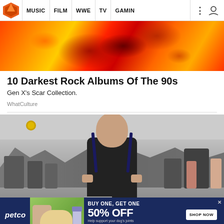MUSIC | FILM | WWE | TV | GAMING
[Figure (photo): Abstract red, orange, and yellow textured image used as article hero image for rock albums article]
10 Darkest Rock Albums Of The 90s
Gen X's Scar Collection.
WhatCulture
[Figure (photo): Older bearded man in black sleeveless shirt standing in a gym with exercise equipment and other gym-goers in the background]
[Figure (photo): Petco advertisement banner: BUY ONE, GET ONE 50% OFF - Help support your dog's joints with a premium supplement. SHOP NOW button. Shows woman with dog and supplement product.]